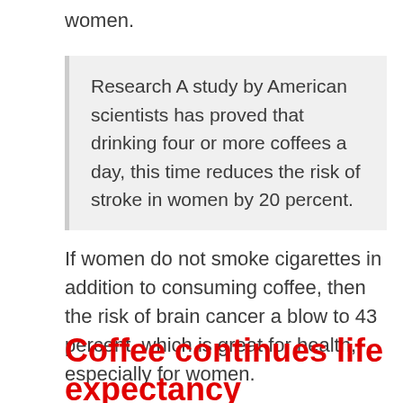women.
Research A study by American scientists has proved that drinking four or more coffees a day, this time reduces the risk of stroke in women by 20 percent.
If women do not smoke cigarettes in addition to consuming coffee, then the risk of brain cancer a blow to 43 percent, which is great for health, especially for women.
Coffee continues life expectancy